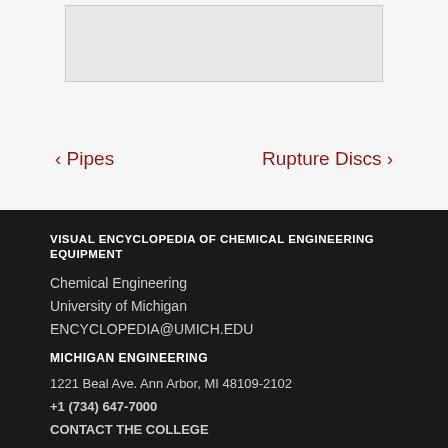[Figure (photo): Image placeholder at top of page]
‹ Pipes
Rupture Discs ›
VISUAL ENCYCLOPEDIA OF CHEMICAL ENGINEERING EQUIPMENT
Chemical Engineering
University of Michigan
ENCYCLOPEDIA@UMICH.EDU
MICHIGAN ENGINEERING
1221 Beal Ave. Ann Arbor, MI 48109-2102
+1 (734) 647-7000
CONTACT THE COLLEGE
© 2022 THE REGENTS OF THE UNIVERSITY OF MICHIGAN | SAFETY INFORMATION | ACCEPTABLE USE |PRIVACY POLICY |U-M MAIN

LOGIN | LOGOUT